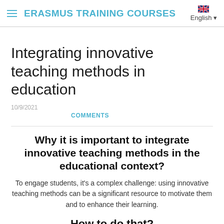ERASMUS TRAINING COURSES  English
Integrating innovative teaching methods in education
10/9/2021
COMMENTS
Why it is important to integrate innovative teaching methods in the educational context?
To engage students, it's a complex challenge: using innovative teaching methods can be a significant resource to motivate them and to enhance their learning.
How to do that?